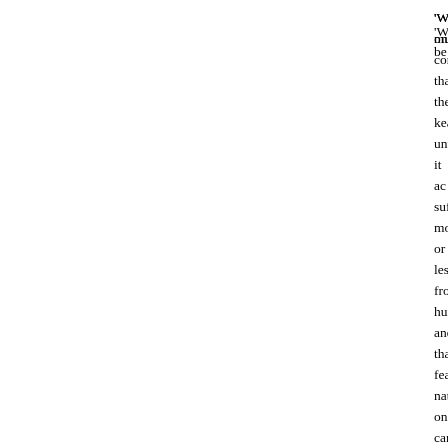'When one considers that the kea, until it ac suffered, more or less, from hunger, and that fearless nature, one cannot be much surprise linked to energy are, I fancy, powerful stimulant
During the forty or fifty years that have elapsed eventually brought home to the culprit, a gooc Owing to the remoteness of the regions inhabit into immediate contact with it and its progress gradual growth, and came only by slow degree as were from time to time printed appeared Transactions of the New Zealand Institute.
Since writing this paper, I have read with int Problem, by G. R. Marriner, the Curator of th work the principal facts, theories and conclusi that the views and experiences of the early pio are here corroborated in almost every detail.
The nesting of the bird was unknown when it w indeed, only quite recently that its nest and become known. The nest is placed far within always remote and often inaccessible; in 188 scarce as to be worth ;6r an egg. They are whit
Mr. Marriner states that the nesting season is f of a nest being found with eggs in January, singular peculiarity is noticed in the exceptiona an instance being given in which the young, fc